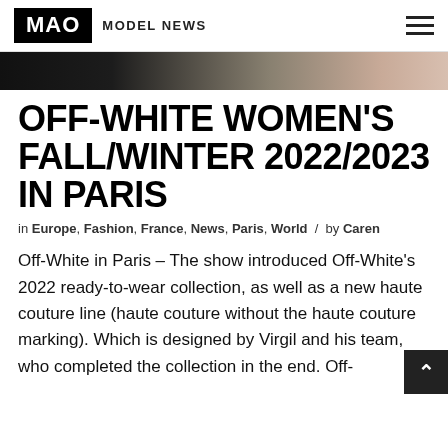MAO MODEL NEWS
[Figure (photo): Partial top edge of a dark and beige/skin-tone background image, likely a fashion show floor or runway detail]
OFF-WHITE WOMEN'S FALL/WINTER 2022/2023 IN PARIS
in Europe, Fashion, France, News, Paris, World / by Caren
Off-White in Paris – The show introduced Off-White's 2022 ready-to-wear collection, as well as a new haute couture line (haute couture without the haute couture marking). Which is designed by Virgil and his team, who completed the collection in the end. Off-